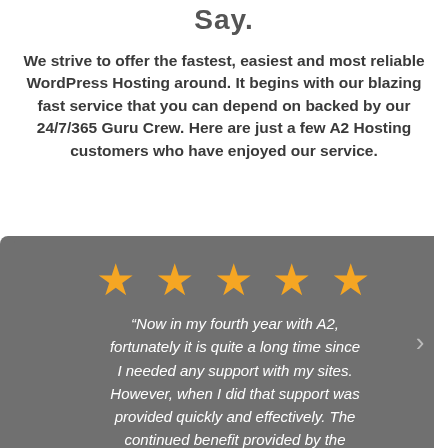Say.
We strive to offer the fastest, easiest and most reliable WordPress Hosting around. It begins with our blazing fast service that you can depend on backed by our 24/7/365 Guru Crew. Here are just a few A2 Hosting customers who have enjoyed our service.
[Figure (other): Customer review carousel with 5 gold stars and testimonial text: “Now in my fourth year with A2, fortunately it is quite a long time since I needed any support with my sites. However, when I did that support was provided quickly and effectively. The continued benefit provided by the” — with left and right navigation arrows on a grey background.]